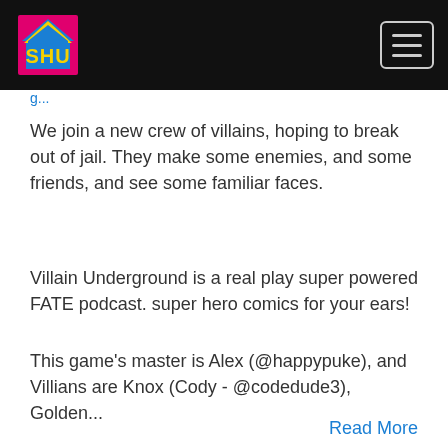S.H.U. logo and navigation menu
We join a new crew of villains, hoping to break out of jail. They make some enemies, and some friends, and see some familiar faces.
Villain Underground is a real play super powered FATE podcast. super hero comics for your ears!
This game's master is Alex (@happypuke), and Villians are Knox (Cody - @codedude3), Golden...
Read More
Villain Underground #0
S.H.U.
Villain Underground #0